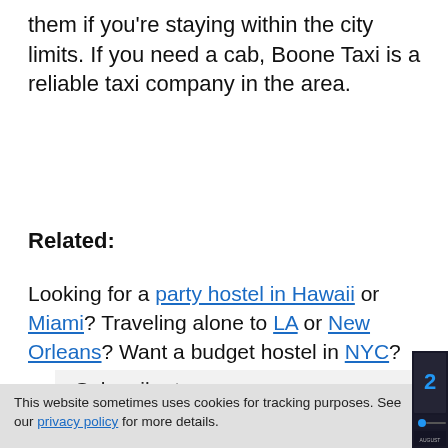them if you're staying within the city limits. If you need a cab, Boone Taxi is a reliable taxi company in the area.
Related:
Looking for a party hostel in Hawaii or Miami? Traveling alone to LA or New Orleans? Want a budget hostel in NYC?
Subscribe to
This website sometimes uses cookies for tracking purposes. See our privacy policy for more details.
[Figure (screenshot): Video thumbnail showing 'This Day in History' with the date 12 August, dark overlay with people in background, mute button and playback controls visible]